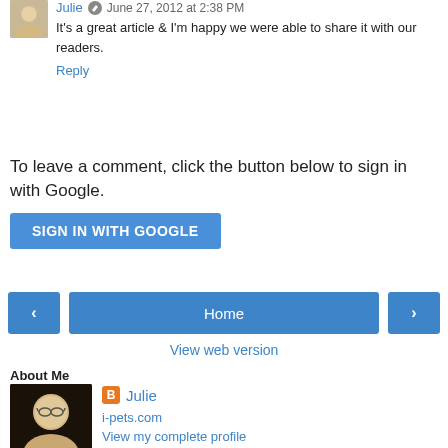Julie · June 27, 2012 at 2:38 PM
It's a great article & I'm happy we were able to share it with our readers.
Reply
To leave a comment, click the button below to sign in with Google.
SIGN IN WITH GOOGLE
Home
View web version
About Me
Julie
i-pets.com
View my complete profile